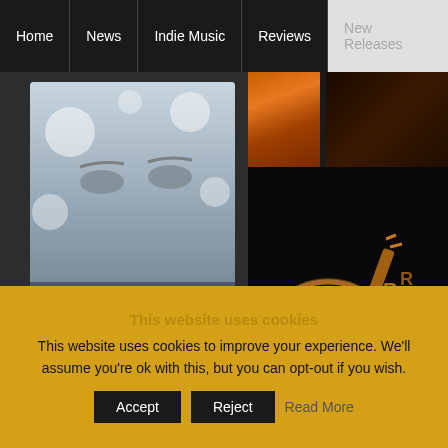Home | News | Indie Music | Reviews | New Releases
[Figure (photo): Jamsphere Magazine cover - Shining Eyes by Sujith Rao & Elstein, with MagCloud promotion]
[Figure (photo): Right panel showing Emtarr music logo/branding on dark background with guitar imagery]
Jamsphere Magazine JULY 2022 - FEATURED ARTISTS - Sujith Rao and
This website uses cookies
This website uses cookies to improve your experience. We'll assume you're ok with this, but you can opt-out if you wish.
Accept  Reject  Read More